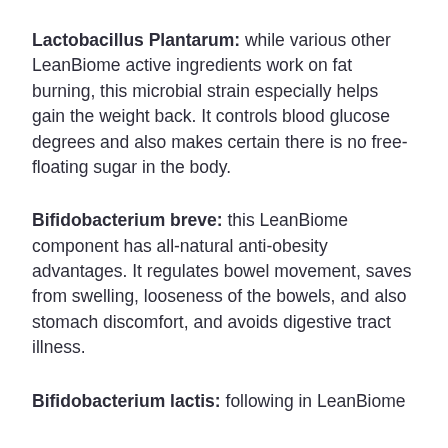Lactobacillus Plantarum: while various other LeanBiome active ingredients work on fat burning, this microbial strain especially helps gain the weight back. It controls blood glucose degrees and also makes certain there is no free-floating sugar in the body.
Bifidobacterium breve: this LeanBiome component has all-natural anti-obesity advantages. It regulates bowel movement, saves from swelling, looseness of the bowels, and also stomach discomfort, and avoids digestive tract illness.
Bifidobacterium lactis: following in LeanBiome